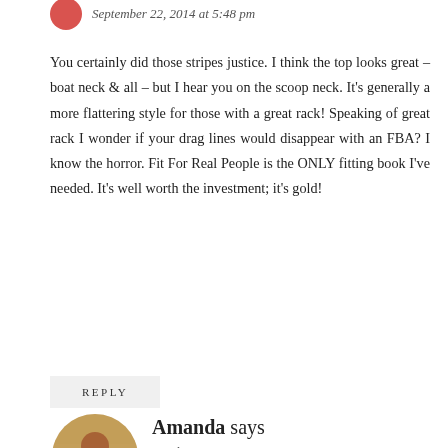September 22, 2014 at 5:48 pm
You certainly did those stripes justice. I think the top looks great – boat neck & all – but I hear you on the scoop neck. It's generally a more flattering style for those with a great rack! Speaking of great rack I wonder if your drag lines would disappear with an FBA? I know the horror. Fit For Real People is the ONLY fitting book I've needed. It's well worth the investment; it's gold!
REPLY
Amanda says
October 2, 2014 at 2:51 pm
I can't thank you enough for this fabric, milady! I